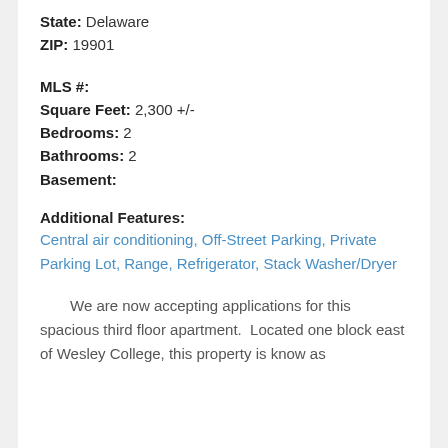State: Delaware
ZIP: 19901
MLS #:
Square Feet: 2,300 +/-
Bedrooms: 2
Bathrooms: 2
Basement:
Additional Features:
Central air conditioning, Off-Street Parking, Private Parking Lot, Range, Refrigerator, Stack Washer/Dryer
We are now accepting applications for this spacious third floor apartment.  Located one block east of Wesley College, this property is know as